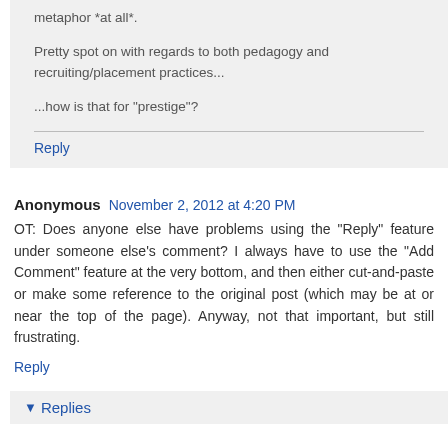metaphor *at all*.
Pretty spot on with regards to both pedagogy and recruiting/placement practices...
...how is that for "prestige"?
Reply
Anonymous  November 2, 2012 at 4:20 PM
OT: Does anyone else have problems using the "Reply" feature under someone else's comment? I always have to use the "Add Comment" feature at the very bottom, and then either cut-and-paste or make some reference to the original post (which may be at or near the top of the page). Anyway, not that important, but still frustrating.
Reply
Replies